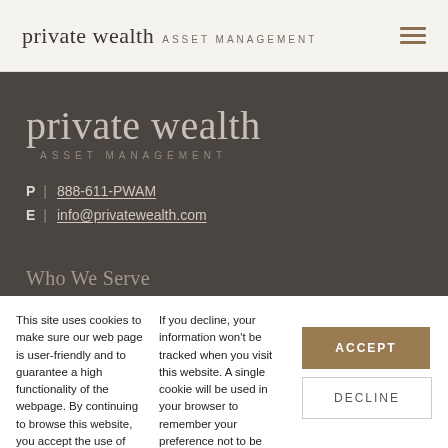private wealth ASSET MANAGEMENT
private wealth
ASSET MANAGEMENT
P | 888-611-PWAM
E | info@privatewealth.com
Who We Serve
This site uses cookies to make sure our web page is user-friendly and to guarantee a high functionality of the webpage. By continuing to browse this website, you accept the use of cookies.
If you decline, your information won’t be tracked when you visit this website. A single cookie will be used in your browser to remember your preference not to be tracked.